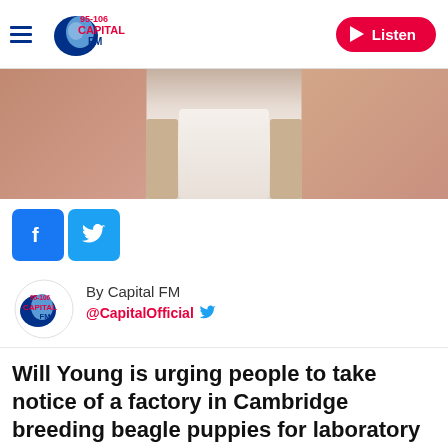95-106 Capital FM — Listen
[Figure (photo): Person wearing white shirt and tan/beige cardigan, face cropped out, blurred/pixelated background]
[Figure (infographic): Social share buttons: Facebook (blue) and Twitter (light blue)]
[Figure (logo): 95-106 Capital FM logo with author attribution: By Capital FM, @CapitalOfficial Twitter]
Will Young is urging people to take notice of a factory in Cambridge breeding beagle puppies for laboratory testing.